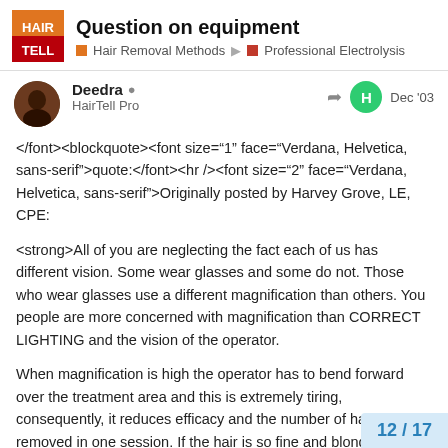Question on equipment | Hair Removal Methods | Professional Electrolysis
Deedra 🛡 HairTell Pro — Dec '03
</font><blockquote><font size="1" face="Verdana, Helvetica, sans-serif">quote:</font><hr /><font size="2" face="Verdana, Helvetica, sans-serif">Originally posted by Harvey Grove, LE, CPE:
<strong>All of you are neglecting the fact each of us has different vision. Some wear glasses and some do not. Those who wear glasses use a different magnification than others. You people are more concerned with magnification than CORRECT LIGHTING and the vision of the operator.

When magnification is high the operator has to bend forward over the treatment area and this is extremely tiring, consequently, it reduces efficacy and the number of hairs removed in one session. If the hair is so fine and blonde that it is difficult to see at a distance you stand whe others it should not be a problem to the pa
12 / 17